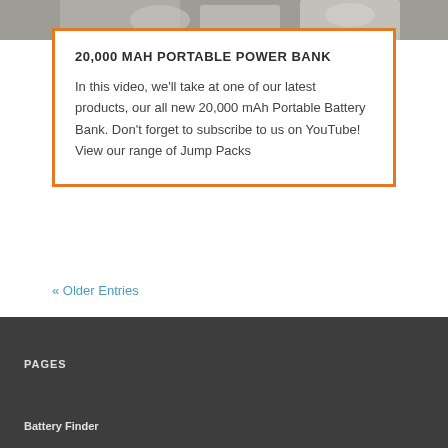[Figure (photo): Partial view of a car engine bay, cropped at the top of the card]
20,000 MAH PORTABLE POWER BANK
In this video, we'll take at one of our latest products, our all new 20,000 mAh Portable Battery Bank. Don't forget to subscribe to us on YouTube! View our range of Jump Packs
« Older Entries
PAGES
Battery Finder